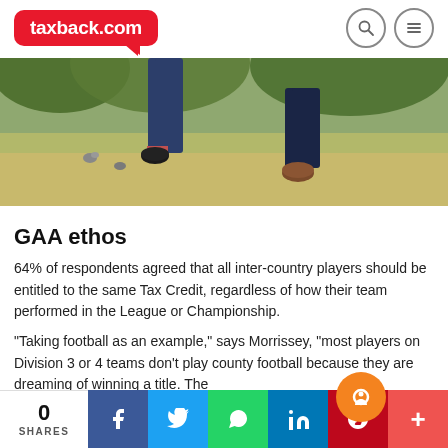taxback.com
[Figure (photo): Two people jumping in a park, showing their legs and feet from the knees down, wearing dark trousers and dress shoes. Green trees and dry grass visible in background.]
GAA ethos
64% of respondents agreed that all inter-country players should be entitled to the same Tax Credit, regardless of how their team performed in the League or Championship.
"Taking football as an example," says Morrissey, "most players on Division 3 or 4 teams don't play county football because they are dreaming of winning a title. The
0 SHARES